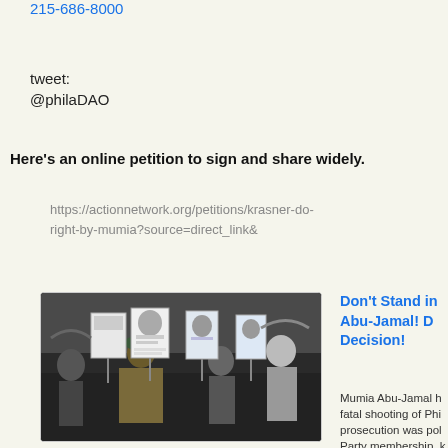215-686-8000
tweet:
@philaDAO
Here's an online petition to sign and share widely.
https://actionnetwork.org/petitions/krasner-do-right-by-mumia?source=direct_link&amp;
[Figure (photo): Crowd of protesters holding signs and banners at a demonstration, with one central figure in a patterned coat and hat holding a sign.]
Don't Stand in Abu-Jamal! D Decision!
Mumia Abu-Jamal h fatal shooting of Phi prosecution was pol Party membership, k radical journalist. His were racially biased